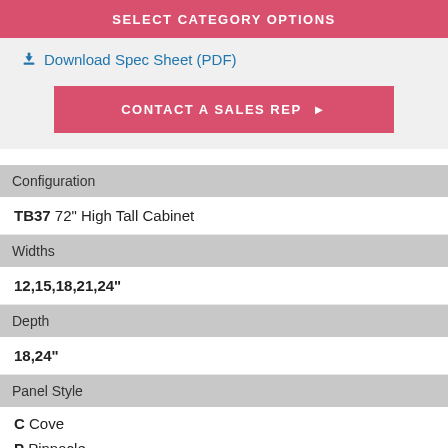SELECT CATEGORY OPTIONS
Download Spec Sheet (PDF)
CONTACT A SALES REP ▶
| Category | Value |
| --- | --- |
| Configuration | TB37 72" High Tall Cabinet |
| Widths | 12,15,18,21,24" |
| Depth | 18,24" |
| Panel Style | C Cove
P Pinnacle |